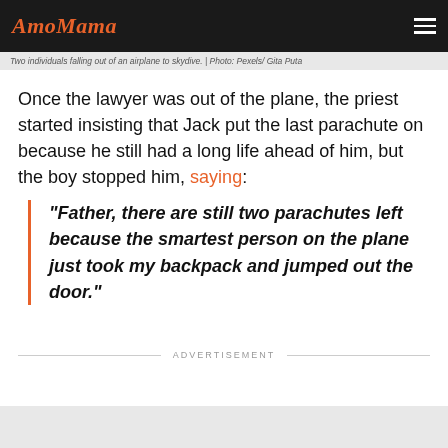AmoMama
Two individuals falling out of an airplane to skydive. | Photo: Pexels/ Gita Puta
Once the lawyer was out of the plane, the priest started insisting that Jack put the last parachute on because he still had a long life ahead of him, but the boy stopped him, saying:
"Father, there are still two parachutes left because the smartest person on the plane just took my backpack and jumped out the door."